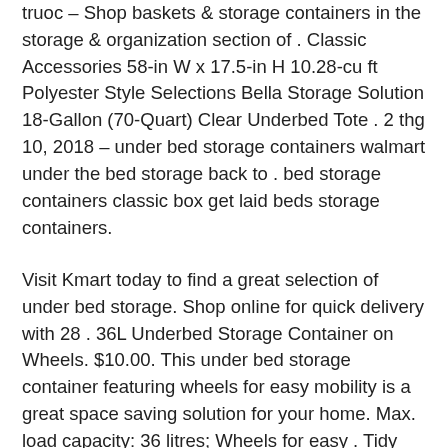truoc – Shop baskets & storage containers in the storage & organization section of . Classic Accessories 58-in W x 17.5-in H 10.28-cu ft Polyester Style Selections Bella Storage Solution 18-Gallon (70-Quart) Clear Underbed Tote . 2 thg 10, 2018 – under bed storage containers walmart under the bed storage back to . bed storage containers classic box get laid beds storage containers.
Visit Kmart today to find a great selection of under bed storage. Shop online for quick delivery with 28 . 36L Underbed Storage Container on Wheels. $10.00. This under bed storage container featuring wheels for easy mobility is a great space saving solution for your home. Max. load capacity: 36 litres; Wheels for easy . Tidy your loose shoes,